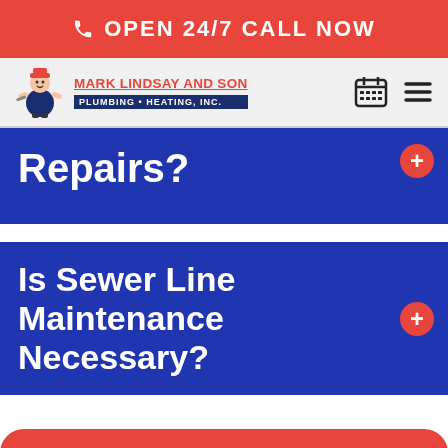OPEN 24/7 CALL NOW
[Figure (logo): Mark Lindsay and Son Plumbing & Heating, Inc. logo with mascot plumber character]
Repairs?
Is Sewer Line Maintenance Necessary?
24/7 Emergency S...
No heat? No water? No worries! Our technicians